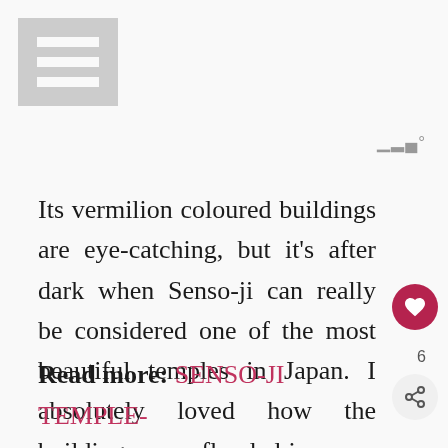[Figure (other): Hamburger/menu icon — three horizontal white bars on a grey square background, top-left corner]
[Figure (other): Small weather or app icon showing three vertical bars with a degree symbol, top-right area]
Its vermilion coloured buildings are eye-catching, but it’s after dark when Senso-ji can really be considered one of the most beautiful temples in Japan. I absolutely loved how the buildings were flooded in warm light, making Senso-ji the most spectacular place I visited during my 4 DAYS IN TOKYO.
Read more: SENSO-JI TEMPLE-
[Figure (other): Pink/crimson circular heart button with white heart icon, right side]
6
[Figure (other): Light grey circular share/forward button with share icon, right side]